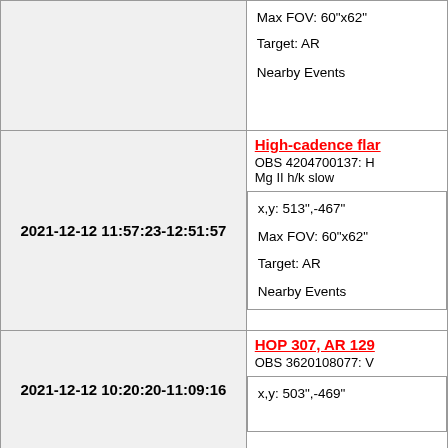| (left empty) | Max FOV: 60"x62"
Target: AR
Nearby Events |
| 2021-12-12 11:57:23-12:51:57 | High-cadence flar...
OBS 4204700137: H... Mg II h/k slow
x,y: 513",-467"
Max FOV: 60"x62"
Target: AR
Nearby Events |
| 2021-12-12 10:20:20-11:09:16 | HOP 307, AR 129...
OBS 3620108077: V...
x,y: 503",-469" |